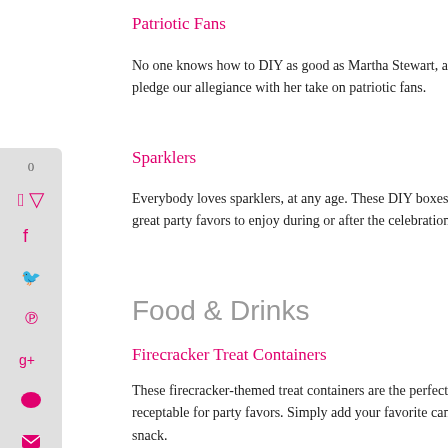Patriotic Fans
No one knows how to DIY as good as Martha Stewart, and we pledge our allegiance with her take on patriotic fans.
Sparklers
Everybody loves sparklers, at any age. These DIY boxes make great party favors to enjoy during or after the celebration.
Food & Drinks
Firecracker Treat Containers
These firecracker-themed treat containers are the perfect receptable for party favors. Simply add your favorite candy or snack.